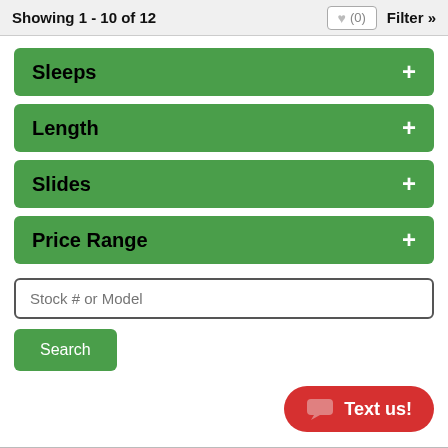Showing 1 - 10 of 12   ♥ (0)   Filter »
Sleeps +
Length +
Slides +
Price Range +
Stock # or Model
Search
Text us!